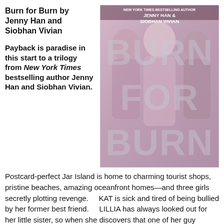Burn for Burn by Jenny Han and Siobhan Vivian
[Figure (illustration): Book cover of 'Burn for Burn' by Jenny Han and Siobhan Vivian, showing three young women with large stylized text overlay reading 'BURN FOR BURN']
Payback is paradise in this start to a trilogy from New York Times bestselling author Jenny Han and Siobhan Vivian. Postcard-perfect Jar Island is home to charming tourist shops, pristine beaches, amazing oceanfront homes—and three girls secretly plotting revenge.     KAT is sick and tired of being bullied by her former best friend.     LILLIA has always looked out for her little sister, so when she discovers that one of her guy friends has been secretly hooking up with her, she's going to put a stop to it.     MARY is perpetually haunted by a traumatic event from years past, and the boy who's responsible has